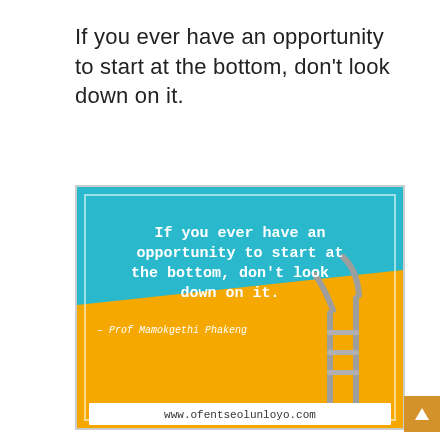If you ever have an opportunity to start at the bottom, don't look down on it.
[Figure (infographic): Quote card with cyan and yellow background showing a pool ladder. White bold text reads: 'If you ever have an opportunity to start at the bottom, don't look down on it.' Attribution: '– Prof Mamokgethi Phakeng'. URL bar at bottom: www.ofentseolunloyo.com]